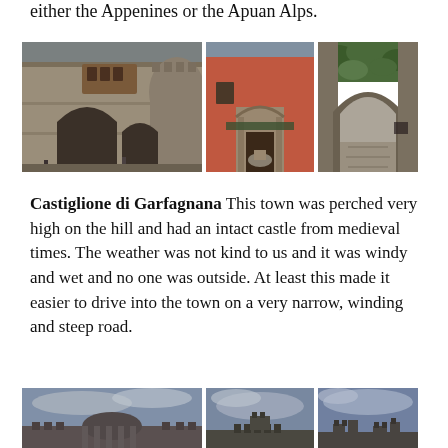either the Appenines or the Apuan Alps.
[Figure (photo): Three photos of Castiglione di Garfagnana: a medieval castle gate with stone arch (left), a red building with stone doorway (center), and a narrow stone alley with ivy-covered arch (right).]
Castiglione di Garfagnana This town was perched very high on the hill and had an intact castle from medieval times. The weather was not kind to us and it was windy and wet and no one was outside. At least this made it easier to drive into the town on a very narrow, winding and steep road.
[Figure (photo): Three partial photos at the bottom of the page showing more views of Castiglione di Garfagnana buildings under a cloudy sky.]